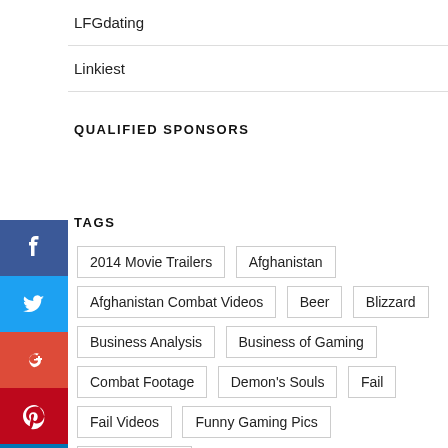LFGdating
Linkiest
QUALIFIED SPONSORS
TAGS
2014 Movie Trailers
Afghanistan
Afghanistan Combat Videos
Beer
Blizzard
Business Analysis
Business of Gaming
Combat Footage
Demon's Souls
Fail
Fail Videos
Funny Gaming Pics
Funny Memes